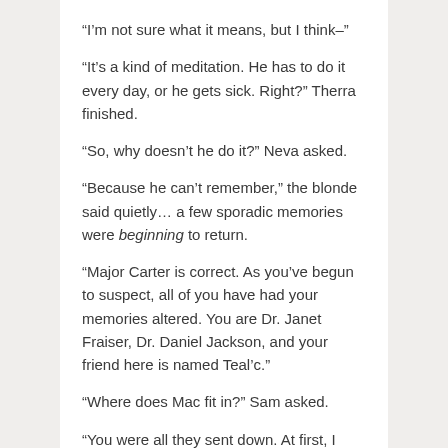“I’m not sure what it means, but I think–”
“It’s a kind of meditation. He has to do it every day, or he gets sick. Right?” Therra finished.
“So, why doesn’t he do it?” Neva asked.
“Because he can’t remember,” the blonde said quietly… a few sporadic memories were beginning to return.
“Major Carter is correct. As you’ve begun to suspect, all of you have had your memories altered. You are Dr. Janet Fraiser, Dr. Daniel Jackson, and your friend here is named Teal’c.”
“Where does Mac fit in?” Sam asked.
“You were all they sent down. At first, I thought it was necessary to protect the city. Now things have gone too far. You don’t belong here. You need to return to your own